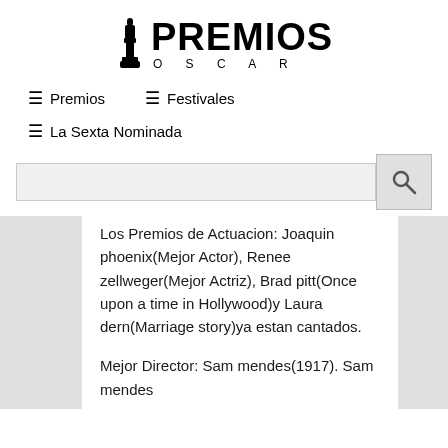[Figure (logo): Premios Oscar logo with Oscar statuette figure and bold PREMIOS text above O S C A R lettering]
≡ Premios   ≡ Festivales
≡ La Sexta Nominada
Los Premios de Actuacion: Joaquin phoenix(Mejor Actor), Renee zellweger(Mejor Actriz), Brad pitt(Once upon a time in Hollywood)y Laura dern(Marriage story)ya estan cantados.
Mejor Director: Sam mendes(1917). Sam mendes